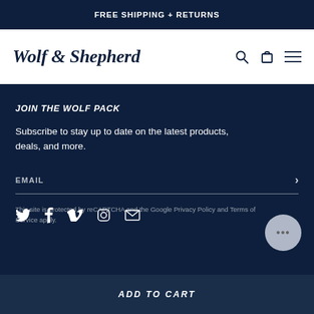FREE SHIPPING + RETURNS
Wolf & Shepherd
JOIN THE WOLF PACK
Subscribe to stay up to date on the latest products, deals, and more.
EMAIL
This site is protected by reCAPTCHA and the Google Privacy Policy and Terms of Service apply.
ADD TO CART